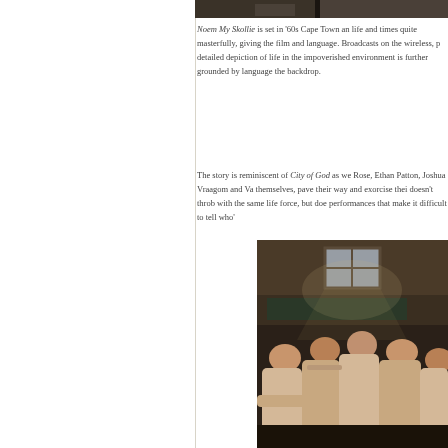[Figure (photo): Dark film still at top of right column, showing dimly lit scene]
Noem My Skollie is set in '60s Cape Town and life and times quite masterfully, giving the film and language. Broadcasts on the wireless, p... detailed depiction of life in the impoverished environment is further grounded by language the backdrop.
The story is reminiscent of City of God as we Rose, Ethan Patton, Joshua Vraagom and Va themselves, pave their way and exorcise thei doesn't throb with the same life force, but doe performances that make it difficult to tell who'
[Figure (photo): Film still showing students seated in a classroom viewed from behind, with a window letting in light from above]